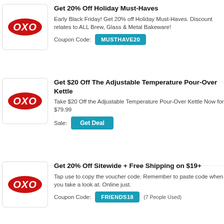Get 20% Off Holiday Must-Haves
Early Black Friday! Get 20% off Holiday Must-Haves. Discount relates to ALL Brew, Glass & Metal Bakeware!
Coupon Code: MUSTHAVE20
Get $20 Off The Adjustable Temperature Pour-Over Kettle
Take $20 Off the Adjustable Temperature Pour-Over Kettle Now for $79.99
Sale: Get Deal
Get 20% Off Sitewide + Free Shipping on $19+
Tap use to copy the voucher code. Remember to paste code when you take a look at. Online just.
Coupon Code: FRIENDS18 (7 People Used)